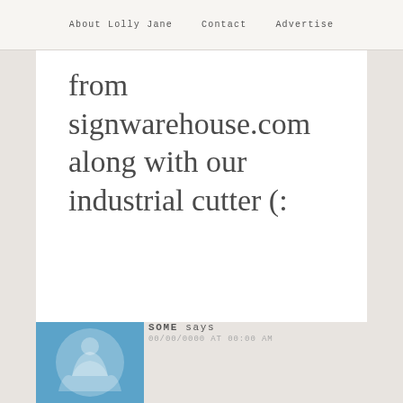About Lolly Jane   Contact   Advertise
from signwarehouse.com along with our industrial cutter (:
Reply
SOME says
00/00/0000 AT 00:00 AM